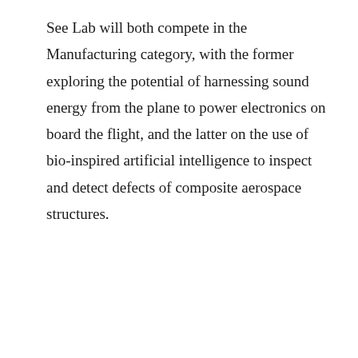See Lab will both compete in the Manufacturing category, with the former exploring the potential of harnessing sound energy from the plane to power electronics on board the flight, and the latter on the use of bio-inspired artificial intelligence to inspect and detect defects of composite aerospace structures.